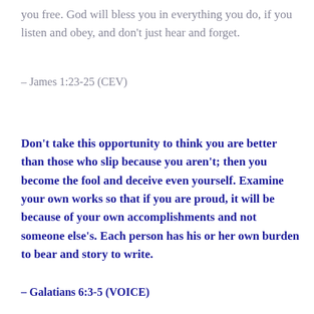you free. God will bless you in everything you do, if you listen and obey, and don't just hear and forget.
– James 1:23-25 (CEV)
Don't take this opportunity to think you are better than those who slip because you aren't; then you become the fool and deceive even yourself. Examine your own works so that if you are proud, it will be because of your own accomplishments and not someone else's.  Each person has his or her own burden to bear and story to write.
– Galatians 6:3-5 (VOICE)